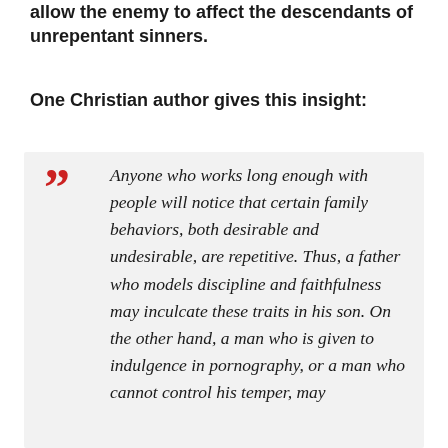allow the enemy to affect the descendants of unrepentant sinners.
One Christian author gives this insight:
Anyone who works long enough with people will notice that certain family behaviors, both desirable and undesirable, are repetitive. Thus, a father who models discipline and faithfulness may inculcate these traits in his son. On the other hand, a man who is given to indulgence in pornography, or a man who cannot control his temper, may